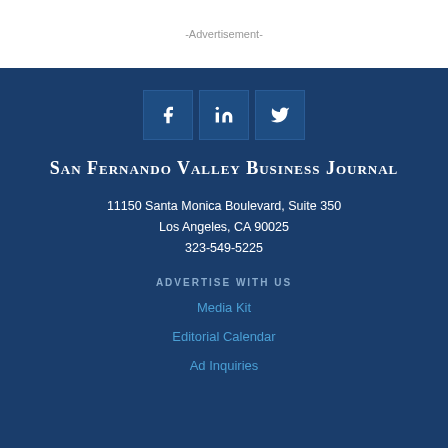-Advertisement-
[Figure (infographic): Social media icons: Facebook, LinkedIn, Twitter on dark blue background buttons]
San Fernando Valley Business Journal
11150 Santa Monica Boulevard, Suite 350
Los Angeles, CA 90025
323-549-5225
ADVERTISE WITH US
Media Kit
Editorial Calendar
Ad Inquiries